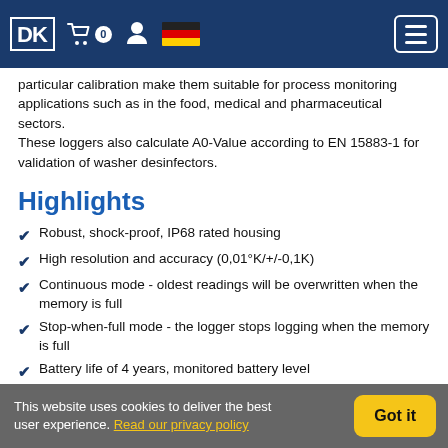DK [logo] cart 0 user [flag DE] [menu]
particular calibration make them suitable for process monitoring applications such as in the food, medical and pharmaceutical sectors.
These loggers also calculate A0-Value according to EN 15883-1 for validation of washer desinfectors.
Highlights
Robust, shock-proof, IP68 rated housing
High resolution and accuracy (0,01°K/+/-0,1K)
Continuous mode - oldest readings will be overwritten when the memory is full
Stop-when-full mode - the logger stops logging when the memory is full
Battery life of 4 years, monitored battery level
This website uses cookies to deliver the best user experience. Read our privacy policy